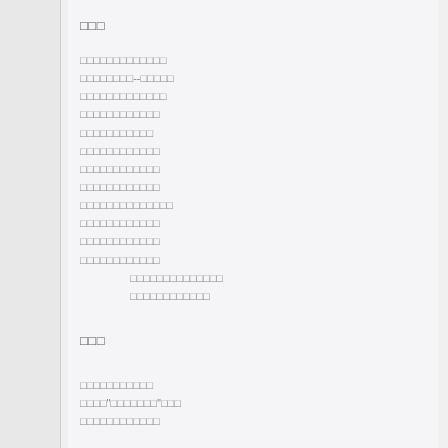□□□
□□□□□□□□□□□□□
□□□□□□□□--□□□□□
□□□□□□□□□□□□□
□□□□□□□□□□□□
□□□□□□□□□□□
□□□□□□□□□□□□
□□□□□□□□□□□□
□□□□□□□□□□□□
□□□□□□□□□□□□□□
□□□□□□□□□□□□
□□□□□□□□□□□□
□□□□□□□□□□□□
    □□□□□□□□□□□□□□
    □□□□□□□□□□□□
□□□
□□□□□□□□□□□
□□□□"□□□□□□□"□□□
□□□□□□□□□□□□